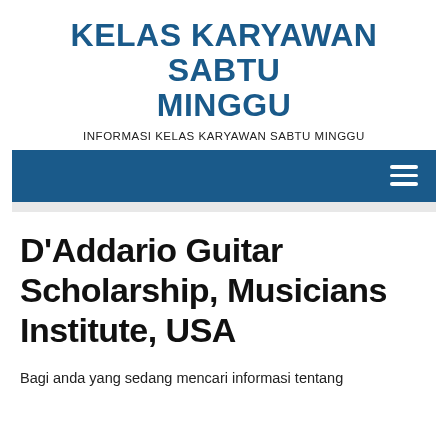KELAS KARYAWAN SABTU MINGGU
INFORMASI KELAS KARYAWAN SABTU MINGGU
D'Addario Guitar Scholarship, Musicians Institute, USA
Bagi anda yang sedang mencari informasi tentang